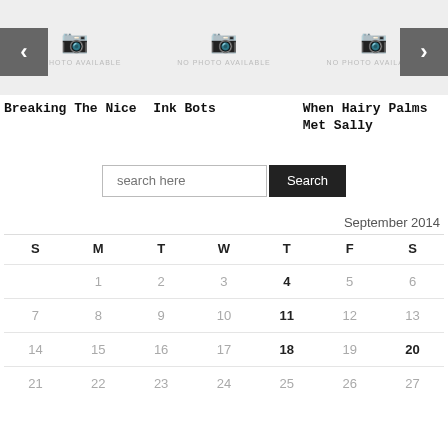[Figure (screenshot): Carousel with three items: 'Breaking The Nice', 'Ink Bots', 'When Hairy Palms Met Sally', each with a placeholder image showing camera icon and 'NO PHOTO AVAILABLE' text. Left and right navigation arrows on edges.]
Breaking The Nice
Ink Bots
When Hairy Palms Met Sally
search here
Search
September 2014
| S | M | T | W | T | F | S |
| --- | --- | --- | --- | --- | --- | --- |
|  | 1 | 2 | 3 | 4 | 5 | 6 |
| 7 | 8 | 9 | 10 | 11 | 12 | 13 |
| 14 | 15 | 16 | 17 | 18 | 19 | 20 |
| 21 | 22 | 23 | 24 | 25 | 26 | 27 |